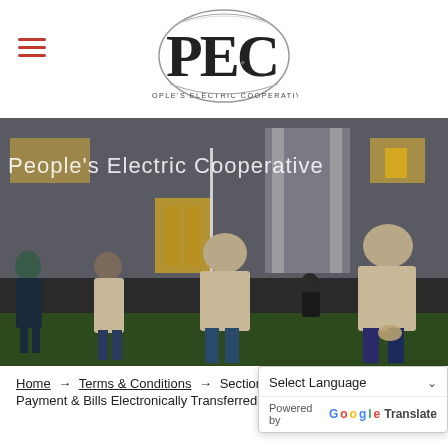[Figure (logo): People's Electric Cooperative (PEC) logo with stylized oval shape around bold PEC letters and text 'PEOPLE'S ELECTRIC COOPERATIVE' below]
[Figure (photo): Outdoor photo of several workers in tan/khaki shirts standing with their backs to the camera in front of the People's Electric Cooperative building at dusk/evening]
Home → Terms & Conditions → Section 305 Payment & Bills Electronically Transferred (AMP & SureBET)
Select Language | Powered by Google Translate